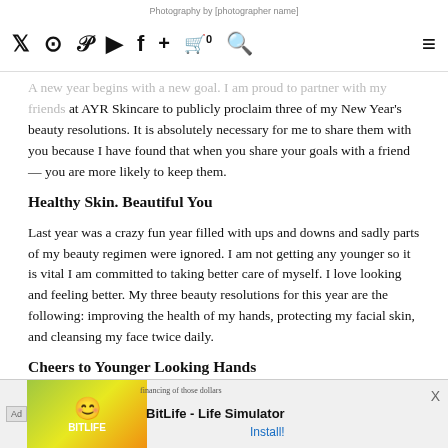Photography by [photographer name] | social icons navigation
A new year begins with a new goal. I am proud to partner with my friends at AYR Skincare to publicly proclaim three of my New Year's beauty resolutions. It is absolutely necessary for me to share them with you because I have found that when you share your goals with a friend — you are more likely to keep them.
Healthy Skin. Beautiful You
Last year was a crazy fun year filled with ups and downs and sadly parts of my beauty regimen were ignored. I am not getting any younger so it is vital I am committed to taking better care of myself. I love looking and feeling better. My three beauty resolutions for this year are the following: improving the health of my hands, protecting my facial skin, and cleansing my face twice daily.
Cheers to Younger Looking Hands
It wasn't until I became a mother that the health of my hands went downhill! LOL. With three kids the constant hand washing for dinner...
[Figure (infographic): Advertisement banner for BitLife - Life Simulator app, showing Ad label, colorful app imagery with emoji face and sperm character, and Install button]